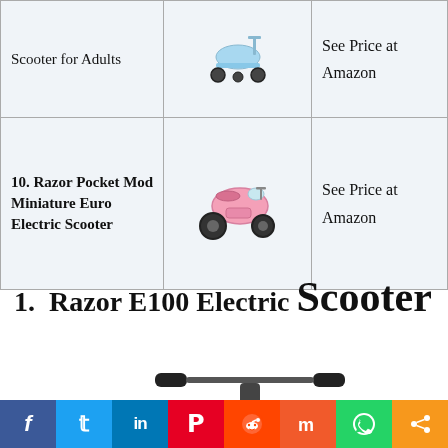| Product | Image | Price |
| --- | --- | --- |
| Scooter for Adults | [image] | See Price at Amazon |
| 10. Razor Pocket Mod Miniature Euro Electric Scooter | [image] | See Price at Amazon |
1. Razor E100 Electric Scooter
[Figure (photo): Partial view of a red electric scooter handlebar area]
[Figure (other): Social media share buttons bar: Facebook, Twitter, LinkedIn, Pinterest, Reddit, Mix, WhatsApp, Share]